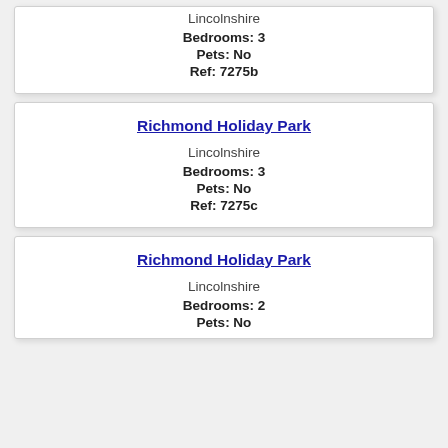Lincolnshire
Bedrooms: 3
Pets: No
Ref: 7275b
Richmond Holiday Park
Lincolnshire
Bedrooms: 3
Pets: No
Ref: 7275c
Richmond Holiday Park
Lincolnshire
Bedrooms: 2
Pets: No